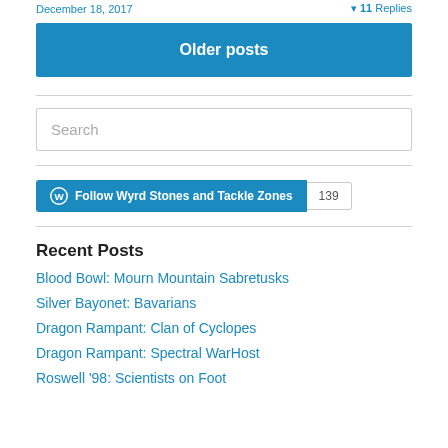December 18, 2017   ▾ 11 Replies
Older posts
Search
[Figure (other): Follow Wyrd Stones and Tackle Zones button with WordPress icon and follower count of 139]
Recent Posts
Blood Bowl: Mourn Mountain Sabretusks
Silver Bayonet: Bavarians
Dragon Rampant: Clan of Cyclopes
Dragon Rampant: Spectral WarHost
Roswell '98: Scientists on Foot